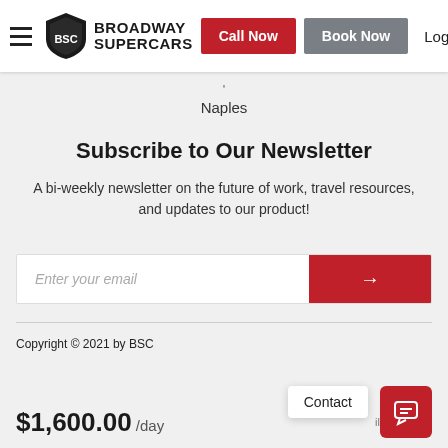Broadway Supercars | Call Now | Book Now | Login
Naples
Subscribe to Our Newsletter
A bi-weekly newsletter on the future of work, travel resources, and updates to our product!
Enter your email
Copyright © 2021 by BSC
$1,600.00 /day
Contact